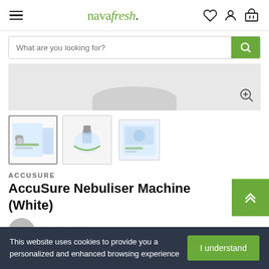navafresh.
What are you looking for?
[Figure (photo): Main product image area showing top of nebuliser machine, grey/white background]
[Figure (photo): Thumbnail 1: AccuSure Nebuliser machine with box, selected/active]
[Figure (photo): Thumbnail 2: AccuSure Nebuliser machine in use with mask]
[Figure (photo): Thumbnail 3: AccuSure Nebuliser machine box front]
ACCUSURE
AccuSure Nebuliser Machine (White)
No Reviews Yet
This website uses cookies to provide you a personalized and enhanced browsing experience